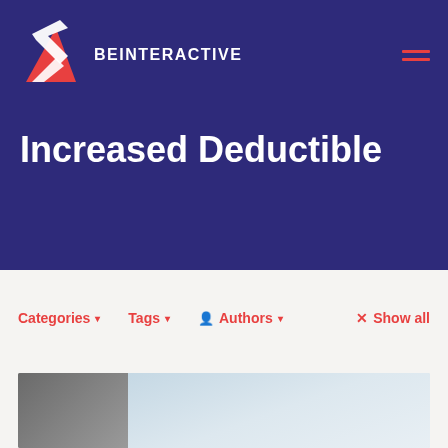BEINTERACTIVE
Increased Deductible
Categories ▾   Tags ▾   Authors ▾   × Show all
[Figure (photo): A blurred background photo split between a dark grey left section and a light blue-grey right section, likely representing an article thumbnail image]